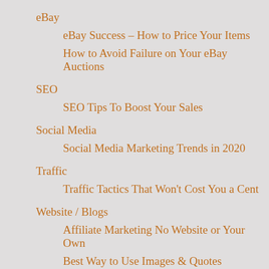eBay
eBay Success – How to Price Your Items
How to Avoid Failure on Your eBay Auctions
SEO
SEO Tips To Boost Your Sales
Social Media
Social Media Marketing Trends in 2020
Traffic
Traffic Tactics That Won't Cost You a Cent
Website / Blogs
Affiliate Marketing No Website or Your Own
Best Way to Use Images & Quotes
Buying e-Book PLR versus Writing Your Own
Running a Home Based Business on the Web